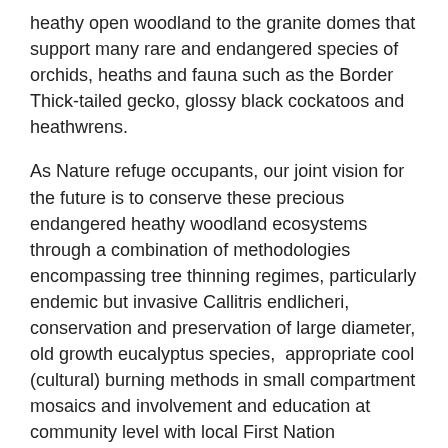heathy open woodland to the granite domes that support many rare and endangered species of orchids, heaths and fauna such as the Border Thick-tailed gecko, glossy black cockatoos and heathwrens.
As Nature refuge occupants, our joint vision for the future is to conserve these precious endangered heathy woodland ecosystems through a combination of methodologies encompassing tree thinning regimes, particularly endemic but invasive Callitris endlicheri, conservation and preservation of large diameter, old growth eucalyptus species,  appropriate cool (cultural) burning methods in small compartment mosaics and involvement and education at community level with local First Nation traditional owners and other property stakeholders willing to trial such methodologies on their own places and on public lands.
Tumbledown has been undergoing a slow transformation over a period of about 10 years of ministering to the senescent and